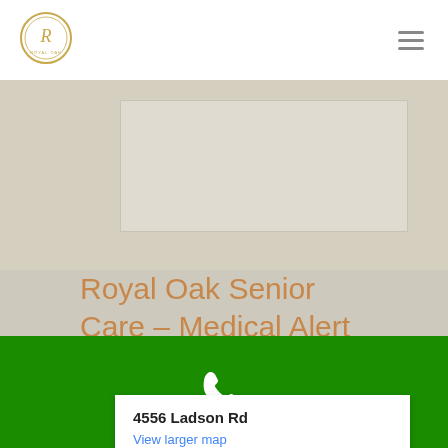[Figure (logo): Royal Oak Senior Care circular logo with 'R' monogram in gold]
Royal Oak Senior Care - Medical Alert Systems
[Figure (map): Google Maps embedded showing location at 4556 Ladson Rd with popup showing address and View larger map link]
4556 Ladson Rd
View larger map
[Figure (other): Green call-to-action bar with white phone icon]